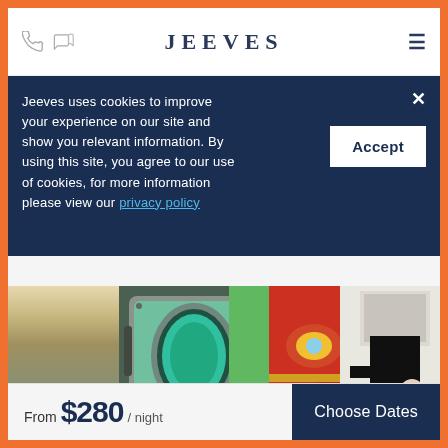JEEVES
Jeeves uses cookies to improve your experience on our site and show you relevant information. By using this site, you agree to our use of cookies, for more information please view our privacy policy
[Figure (photo): Three side-by-side photos: indoor pool with arches and blue water, industrial machine with yellow/black hazard stripes, Iron Man suit display with glowing elements, and adult with child looking at something]
Follow Us on Facebook & Instagram and Share your favorite moments with
From $280 / night
Choose Dates